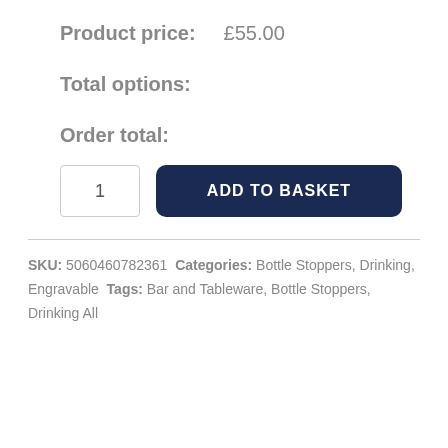Product price: £55.00
Total options:
Order total:
1
ADD TO BASKET
SKU: 5060460782361 Categories: Bottle Stoppers, Drinking, Engravable Tags: Bar and Tableware, Bottle Stoppers, Drinking All